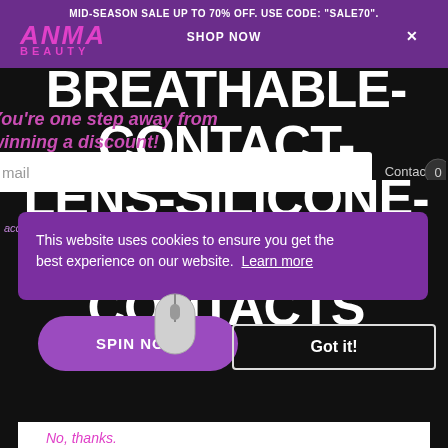MID-SEASON SALE UP TO 70% OFF. USE CODE: "SALE70".
SHOP NOW  X
[Figure (logo): ANMA BEAUTY logo in pink italic text]
BREATHABLE-CONTACT-LENS-SILICONE-HYDROGEL-CONTACTS
You're one step away from winning a discount!
Only 12 coupons left.
Contacts
nail
This website uses cookies to ensure you get the best experience on our website.  Learn more
accept us to receive marketing newsletter
SPIN NOW
Got it!
No, thanks.